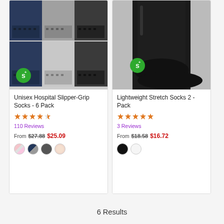[Figure (photo): Product image of Unisex Hospital Slipper-Grip Socks 6 Pack showing multiple pairs of socks in navy, grey, and black with grip soles, with a green savings badge]
Unisex Hospital Slipper-Grip Socks - 6 Pack
★★★★☆ 110 Reviews
From $27.88 $25.09
[Figure (photo): Product image of Lightweight Stretch Socks 2 Pack showing a black knee-high sock on a foot/leg, with a green savings badge]
Lightweight Stretch Socks 2 - Pack
★★★★★ 3 Reviews
From $18.58 $16.72
6 Results